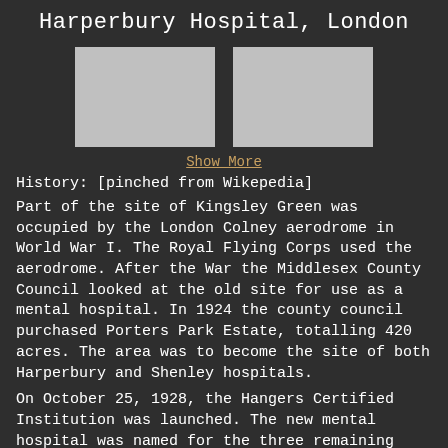Harperbury Hospital, London
[Figure (photo): Two gray placeholder image boxes side by side]
Show More
History: [pinched from Wikepedia]
Part of the site of Kingsley Green was occupied by the London Colney aerodrome in World War I. The Royal Flying Corps used the aerodrome. After the War the Middlesex County Council looked at the old site for use as a mental hospital. In 1924 the county council purchased Porters Park Estate, totalling 420 acres. The area was to become the site of both Harperbury and Shenley hospitals.
On October 25, 1928, the Hangers Certified Institution was launched. The new mental hospital was named for the three remaining aerodrome hangers on the site. The first